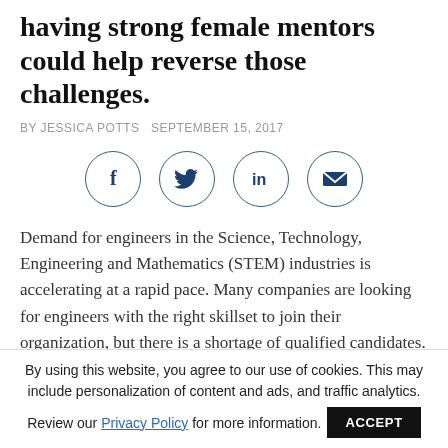having strong female mentors could help reverse those challenges.
BY JESSICA POTTS  SEPTEMBER 15, 2017
[Figure (infographic): Four circular social media sharing icons: Facebook (f), Twitter (bird), LinkedIn (in), and Email (envelope), all in dark blue outlines.]
Demand for engineers in the Science, Technology, Engineering and Mathematics (STEM) industries is accelerating at a rapid pace. Many companies are looking for engineers with the right skillset to join their organization, but there is a shortage of qualified candidates. And while recruiting for skilled engineers for STEM industries is on the rise, there are concerns about the lack of diversity in their candidates.
By using this website, you agree to our use of cookies. This may include personalization of content and ads, and traffic analytics. Review our Privacy Policy for more information.